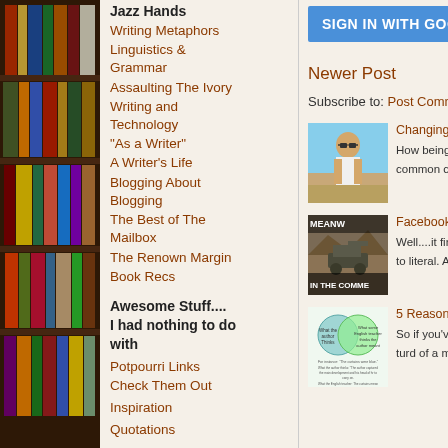[Figure (photo): Bookshelf with colorful books, left sidebar background]
Jazz Hands
Writing Metaphors
Linguistics & Grammar
Assaulting The Ivory
Writing and Technology
"As a Writer"
A Writer's Life
Blogging About Blogging
The Best of The Mailbox
The Renown Margin
Book Recs
Awesome Stuff....
I had nothing to do with
Potpourri Links
Check Them Out
Inspiration
Quotations
Guest Bloggers
Introducing...
Listicles About
SIGN IN WITH GOOGLE
Newer Post
Subscribe to: Post Comments (A
[Figure (photo): Man in white tank top, sunglasses, outdoor photo]
Changing The...
How being a w... common com...
[Figure (photo): Meme image with text MEANW and IN THE COMME]
Facebook Con...
Well....it final... to literal. At o...
[Figure (illustration): Venn diagram with two circles]
5 Reasons I A...
So if you've b... turd of a mem...